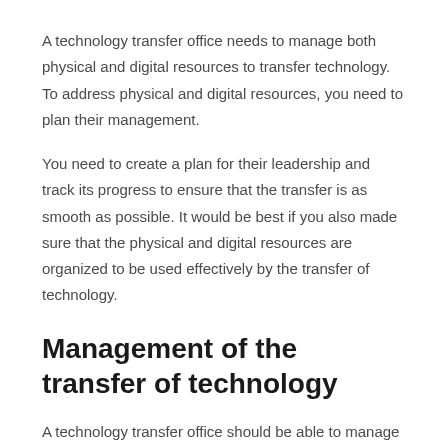A technology transfer office needs to manage both physical and digital resources to transfer technology. To address physical and digital resources, you need to plan their management.
You need to create a plan for their leadership and track its progress to ensure that the transfer is as smooth as possible. It would be best if you also made sure that the physical and digital resources are organized to be used effectively by the transfer of technology.
Management of the transfer of technology
A technology transfer office should be able to manage the transfer of technology. They should have a process for transferring technology, one that is designed to make it as easy as possible for companies to share technology.